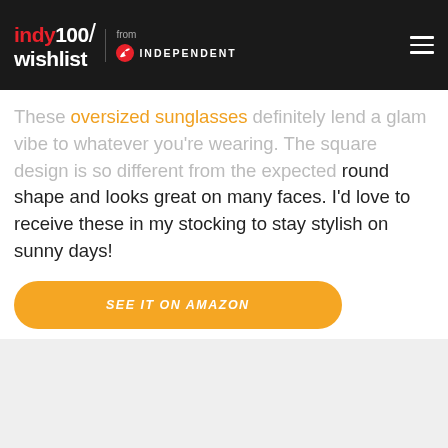indy100/wishlist from INDEPENDENT
These oversized sunglasses definitely lend a glam vibe to whatever you're wearing. The square design is so different from the expected round shape and looks great on many faces. I'd love to receive these in my stocking to stay stylish on sunny days!
SEE IT ON AMAZON
[Figure (photo): Gray placeholder area for a product image]